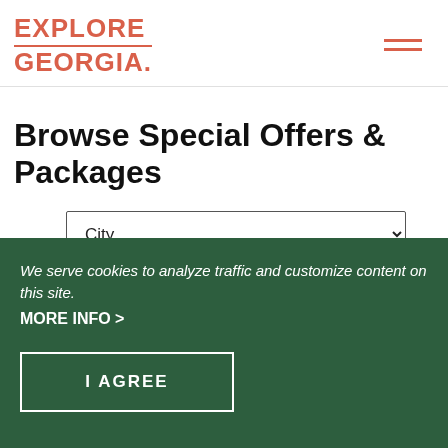EXPLORE GEORGIA
Browse Special Offers & Packages
City (dropdown selector)
We serve cookies to analyze traffic and customize content on this site.
MORE INFO >
I AGREE